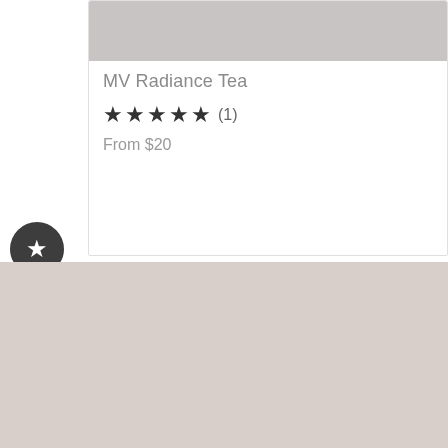[Figure (photo): Gray product image placeholder at top of product card]
MV Radiance Tea
★★★★★ (1)
From $20
[Figure (illustration): Dark circular wishlist/favorite button with star icon]
'I have the most skin in the world, so I love the
GRATITUDE PROGRAM